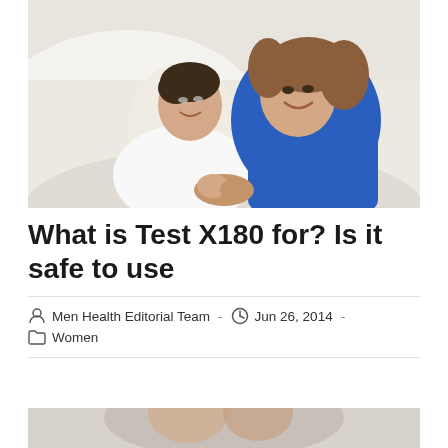[Figure (photo): A couple, a man in white and a woman in blue, lying on a bed looking up at the camera and smiling, holding hands.]
What is Test X180 for? Is it safe to use
Men Health Editorial Team  -  Jun 26, 2014  -  Women
[Figure (photo): Partial view of a second article's hero image, cropped at the bottom of the page.]